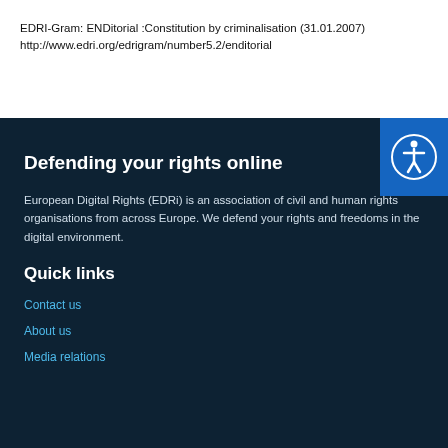EDRI-Gram: ENDitorial :Constitution by criminalisation (31.01.2007)
http://www.edri.org/edrigram/number5.2/enditorial
Defending your rights online
European Digital Rights (EDRi) is an association of civil and human rights organisations from across Europe. We defend your rights and freedoms in the digital environment.
Quick links
Contact us
About us
Media relations